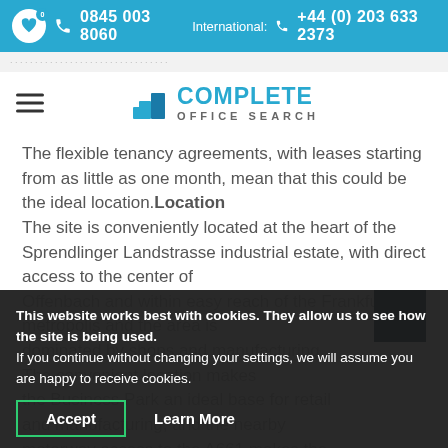0845 003 8060  International: +44 (0) 203 633 2373
[Figure (logo): Complete Office Search logo with blue building icon and blue COMPLETE text with grey OFFICE SEARCH subtitle]
The flexible tenancy agreements, with leases starting from as little as one month, mean that this could be the ideal location. Location The site is conveniently located at the heart of the Sprendlinger Landstrasse industrial estate, with direct access to the center of Offenbach and within easy reach of the Frankfurt metropolis and the area is dominated by shops and manufacturing. The convenient location makes the Business Park an ideal base for retail and manufacturing, and the nearby motorway access to the A661 makes the
This website works best with cookies. They allow us to see how the site is being used.
If you continue without changing your settings, we will assume you are happy to receive cookies.